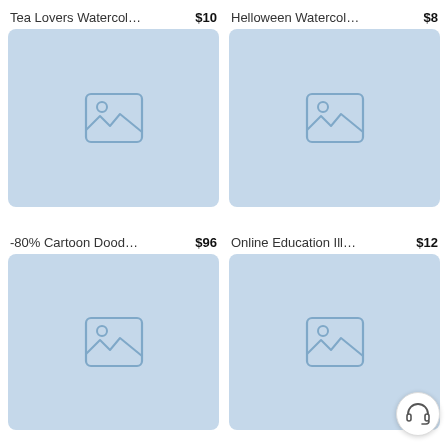Tea Lovers Watercolor C… $10
[Figure (illustration): Placeholder image thumbnail with image icon, light blue background, top-left product]
Helloween Watercolor Cl… $8
[Figure (illustration): Placeholder image thumbnail with image icon, light blue background, top-right product]
-80% Cartoon Doodle C… $96
[Figure (illustration): Placeholder image thumbnail with image icon, light blue background, bottom-left product]
Online Education Illustra… $12
[Figure (illustration): Placeholder image thumbnail with image icon, light blue background, bottom-right product]